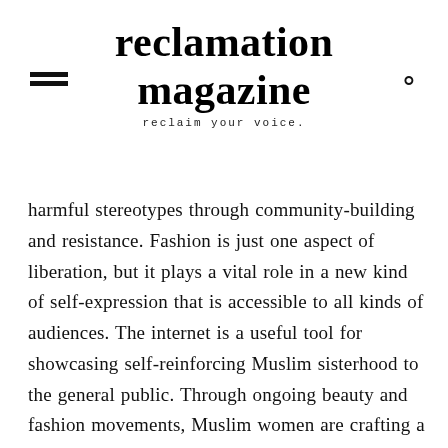reclamation magazine
reclaim your voice.
harmful stereotypes through community-building and resistance. Fashion is just one aspect of liberation, but it plays a vital role in a new kind of self-expression that is accessible to all kinds of audiences. The internet is a useful tool for showcasing self-reinforcing Muslim sisterhood to the general public. Through ongoing beauty and fashion movements, Muslim women are crafting a spotlight of their own where they're finally able to tell their own stories.